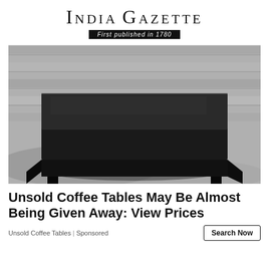India Gazette
First published in 1780
[Figure (photo): Black square low-profile coffee table on a wooden floor with rug, black and white photograph]
Unsold Coffee Tables May Be Almost Being Given Away: View Prices
Unsold Coffee Tables | Sponsored
Search Now